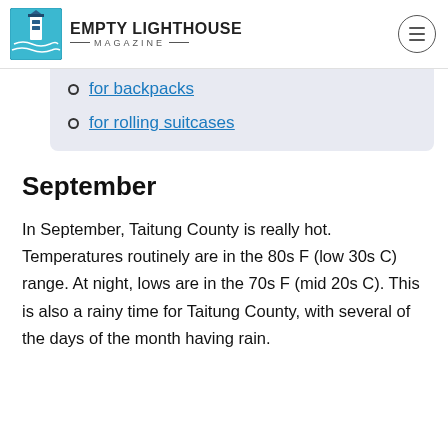EMPTY LIGHTHOUSE MAGAZINE
for backpacks
for rolling suitcases
September
In September, Taitung County is really hot. Temperatures routinely are in the 80s F (low 30s C) range. At night, lows are in the 70s F (mid 20s C). This is also a rainy time for Taitung County, with several of the days of the month having rain.